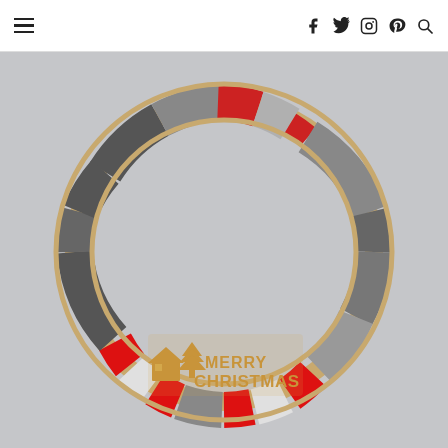Navigation header with hamburger menu and social icons: facebook, twitter, instagram, pinterest, search
[Figure (photo): A Christmas wreath made from a wooden embroidery hoop wrapped with gray and red yarn/fabric strips in a striped pattern. A wooden laser-cut 'Merry Christmas' sign with a house and tree silhouette is placed at the bottom center of the wreath. The background is a light gray wall.]